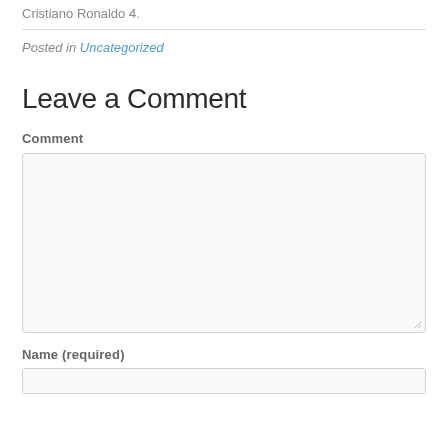Cristiano Ronaldo 4.
Posted in Uncategorized
Leave a Comment
Comment
[Figure (other): Comment text area input field]
Name (required)
[Figure (other): Name input field]